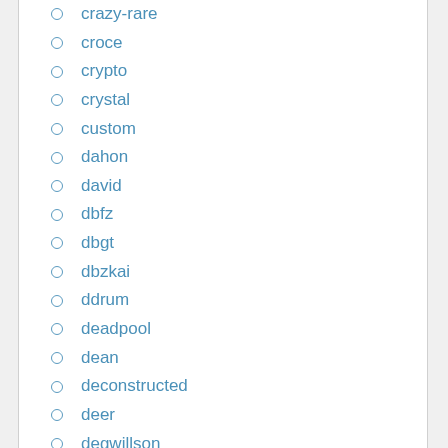crazy-rare
croce
crypto
crystal
custom
dahon
david
dbfz
dbgt
dbzkai
ddrum
deadpool
dean
deconstructed
deer
degwillson
demo
demon
dende